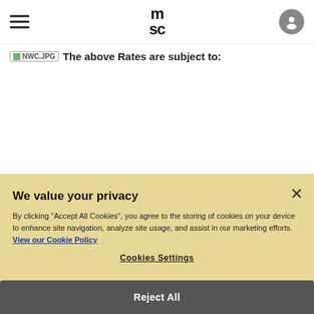msc
The above Rates are subject to:
We value your privacy
By clicking "Accept All Cookies", you agree to the storing of cookies on your device to enhance site navigation, analyze site usage, and assist in our marketing efforts. View our Cookie Policy
Cookies Settings
Reject All